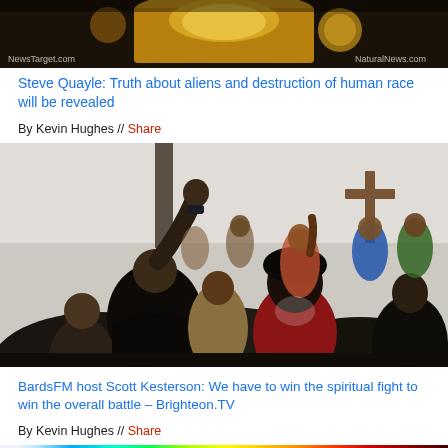[Figure (photo): Gold artifact/sarcophagus image with NewsTarget.com and NaturalNews.com watermarks]
Steve Quayle: Truth about aliens and destruction of human race will be revealed
By Kevin Hughes // Share
[Figure (photo): Church congregation scene with people raising hands in worship, cross visible in background]
BardsFM host Scott Kesterson: We have to win the spiritual fight to win the overall battle – Brighteon.TV
By Kevin Hughes // Share
[Figure (photo): Heat map or colorful visualization partially visible at bottom]